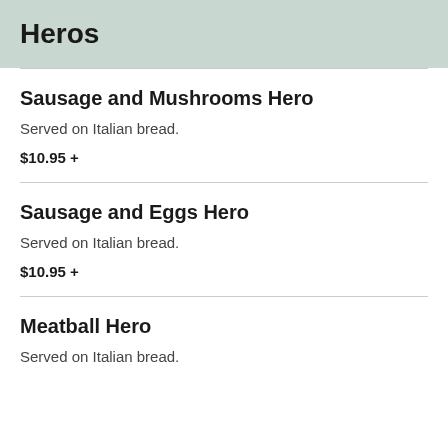Heros
Sausage and Mushrooms Hero
Served on Italian bread.
$10.95 +
Sausage and Eggs Hero
Served on Italian bread.
$10.95 +
Meatball Hero
Served on Italian bread.